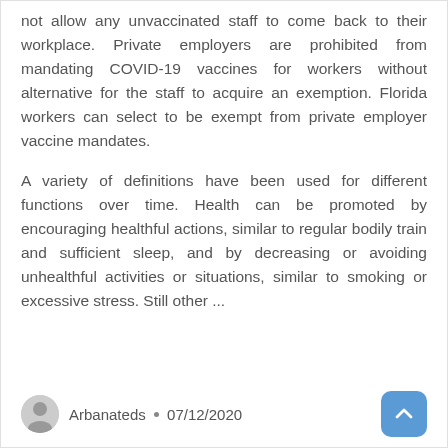not allow any unvaccinated staff to come back to their workplace. Private employers are prohibited from mandating COVID-19 vaccines for workers without alternative for the staff to acquire an exemption. Florida workers can select to be exempt from private employer vaccine mandates.
A variety of definitions have been used for different functions over time. Health can be promoted by encouraging healthful actions, similar to regular bodily train and sufficient sleep, and by decreasing or avoiding unhealthful activities or situations, similar to smoking or excessive stress. Still other ...
Arbanateds • 07/12/2020